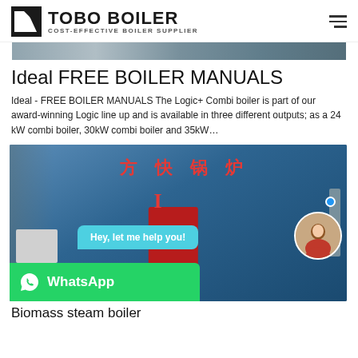TOBO BOILER — COST-EFFECTIVE BOILER SUPPLIER
[Figure (photo): Partial top image strip of industrial equipment]
Ideal FREE BOILER MANUALS
Ideal - FREE BOILER MANUALS The Logic+ Combi boiler is part of our award-winning Logic line up and is available in three different outputs; as a 24 kW combi boiler, 30kW combi boiler and 35kW…
[Figure (photo): Industrial boiler with Chinese text 方快锅炉 in red, WhatsApp chat widget with avatar and 'Hey, let me help you!' bubble, WhatsApp button at bottom left]
Biomass steam boiler